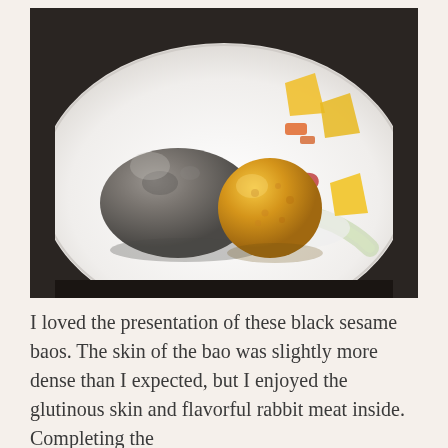[Figure (photo): A fine dining plate on a white dish featuring two dome-shaped items: a dark grey/black sesame bao on the left and a golden fried croquette-style ball on the right, surrounded by colorful garnishes including yellow mango or squash pieces, green edamame, white cream sauce, and red accents.]
I loved the presentation of these black sesame baos. The skin of the bao was slightly more dense than I expected, but I enjoyed the glutinous skin and flavorful rabbit meat inside. Completing the